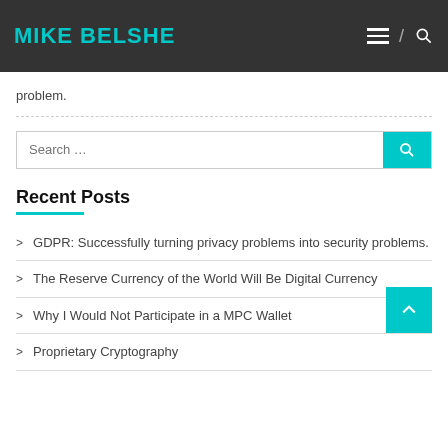MIKE BELSHE
problem.
Search …
Recent Posts
GDPR: Successfully turning privacy problems into security problems.
The Reserve Currency of the World Will Be Digital Currency
Why I Would Not Participate in a MPC Wallet
Proprietary Cryptography